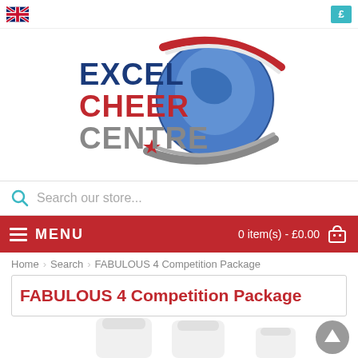[Figure (logo): Excel Cheer Centre logo with globe, swoosh, and red star]
Search our store...
MENU   0 item(s) - £0.00
Home > Search > FABULOUS 4 Competition Package
FABULOUS 4 Competition Package
[Figure (photo): Product photo of cheerleading items on white background]